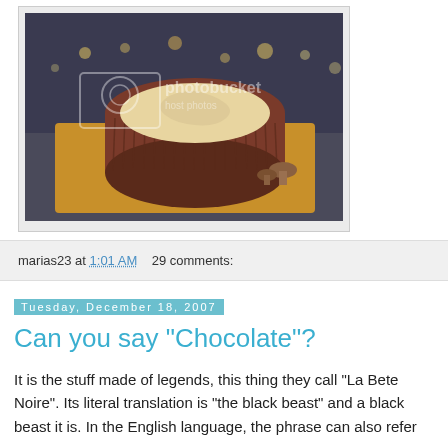[Figure (photo): A log-shaped chocolate cake decorated with chocolate buttercream to look like tree bark, sitting on a wooden cutting board. There is a Photobucket watermark overlay on the image.]
marias23 at 1:01 AM   29 comments:
Tuesday, December 18, 2007
Can you say "Chocolate"?
It is the stuff made of legends, this thing they call "La Bete Noire". Its literal translation is "the black beast" and a black beast it is. In the English language, the phrase can also refer